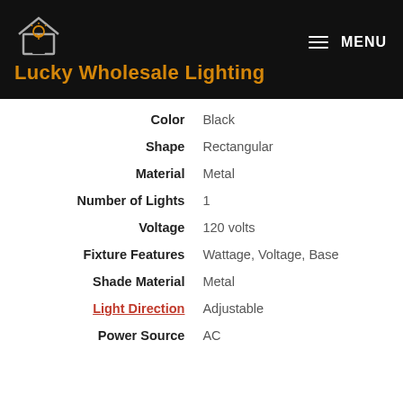Lucky Wholesale Lighting
| Attribute | Value |
| --- | --- |
| Color | Black |
| Shape | Rectangular |
| Material | Metal |
| Number of Lights | 1 |
| Voltage | 120 volts |
| Fixture Features | Wattage, Voltage, Base |
| Shade Material | Metal |
| Light Direction | Adjustable |
| Power Source | AC |